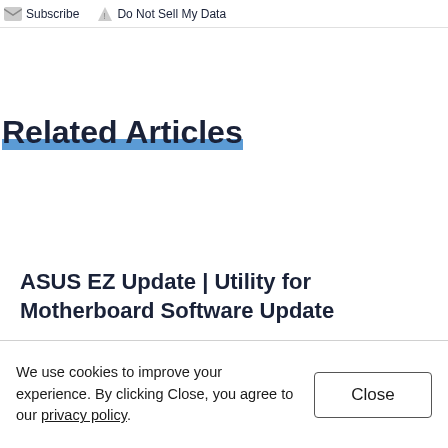Subscribe  Do Not Sell My Data
Related Articles
ASUS EZ Update | Utility for Motherboard Software Update
Jonny Lin
4 weeks ago
We use cookies to improve your experience. By clicking Close, you agree to our privacy policy.